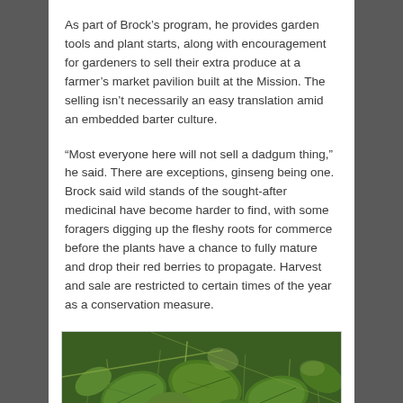As part of Brock’s program, he provides garden tools and plant starts, along with encouragement for gardeners to sell their extra produce at a farmer’s market pavilion built at the Mission. The selling isn’t necessarily an easy translation amid an embedded barter culture.
“Most everyone here will not sell a dadgum thing,” he said. There are exceptions, ginseng being one. Brock said wild stands of the sought-after medicinal have become harder to find, with some foragers digging up the fleshy roots for commerce before the plants have a chance to fully mature and drop their red berries to propagate. Harvest and sale are restricted to certain times of the year as a conservation measure.
[Figure (photo): Close-up photograph of green plant leaves growing among grass and stems, likely depicting ginseng or similar foraged plant.]